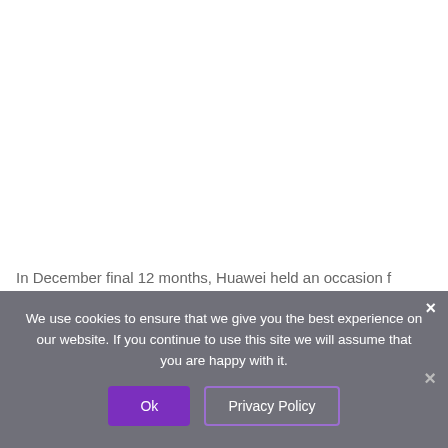In December final 12 months, Huawei held an occasion f
We use cookies to ensure that we give you the best experience on our website. If you continue to use this site we will assume that you are happy with it.